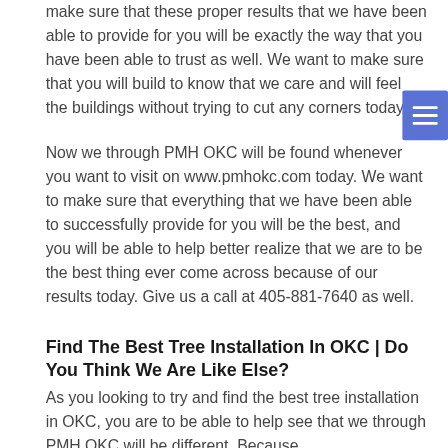make sure that these proper results that we have been able to provide for you will be exactly the way that you have been able to trust as well. We want to make sure that you will build to know that we care and will feel the buildings without trying to cut any corners today.
Now we through PMH OKC will be found whenever you want to visit on www.pmhokc.com today. We want to make sure that everything that we have been able to successfully provide for you will be the best, and you will be able to help better realize that we are to be the best thing ever come across because of our results today. Give us a call at 405-881-7640 as well.
Find The Best Tree Installation In OKC | Do You Think We Are Like Else?
As you looking to try and find the best tree installation in OKC, you are to be able to help see that we through PMH OKC will be different. Because